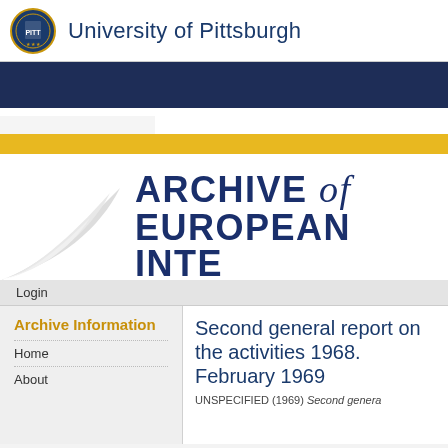[Figure (logo): University of Pittsburgh seal/logo and name in header]
University of Pittsburgh
[Figure (illustration): Dark navy banner with University of Pittsburgh branding]
[Figure (illustration): Page curl decorative element with yellow and white bars, Archive of European Inte[gration] title text]
ARCHIVE of EUROPEAN INTE[gration]
Login
Archive Information
Home
About
Second general repo[rt on the activities of the European Communities] 1968. February 1969[.]
UNSPECIFIED (1969) Second genera[l report...]